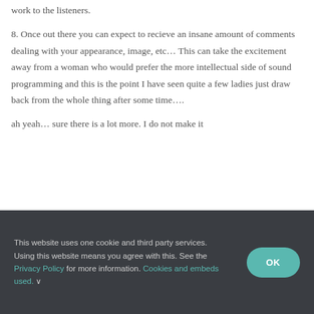work to the listeners.
8. Once out there you can expect to recieve an insane amount of comments dealing with your appearance, image, etc... This can take the excitement away from a woman who would prefer the more intellectual side of sound programming and this is the point I have seen quite a few ladies just draw back from the whole thing after some time....
ah yeah... sure there is a lot more. I do not make it
This website uses one cookie and third party services. Using this website means you agree with this. See the Privacy Policy for more information. Cookies and embeds used. ∨